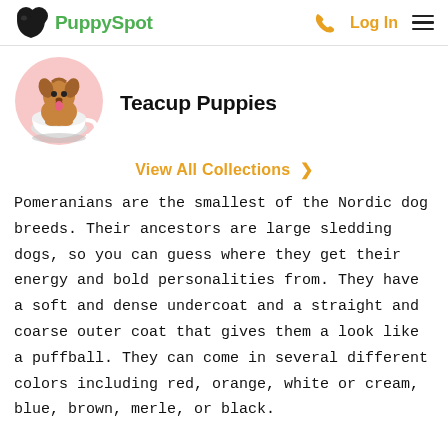PuppySpot | Log In
[Figure (illustration): Circular illustration of a small fluffy brown puppy sitting in a white teacup, on a pink background circle]
Teacup Puppies
View All Collections >
Pomeranians are the smallest of the Nordic dog breeds. Their ancestors are large sledding dogs, so you can guess where they get their energy and bold personalities from. They have a soft and dense undercoat and a straight and coarse outer coat that gives them a look like a puffball. They can come in several different colors including red, orange, white or cream, blue, brown, merle, or black.